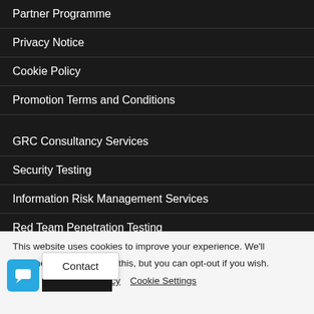Partner Programme
Privacy Notice
Cookie Policy
Promotion Terms and Conditions
GRC Consultancy Services
Security Testing
Information Risk Management Services
Red Team Penetration Testing
This website uses cookies to improve your experience. We'll assume you're okay with this, but you can opt-out if you wish.
Cookie Policy  Cookie Settings
Contact